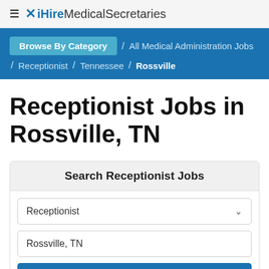≡ ✕ iHireMedicalSecretaries
Browse By Category / All Medical Administration Jobs / Receptionist / Tennessee / Rossville
Receptionist Jobs in Rossville, TN
Search Receptionist Jobs
Receptionist
Rossville, TN
Search